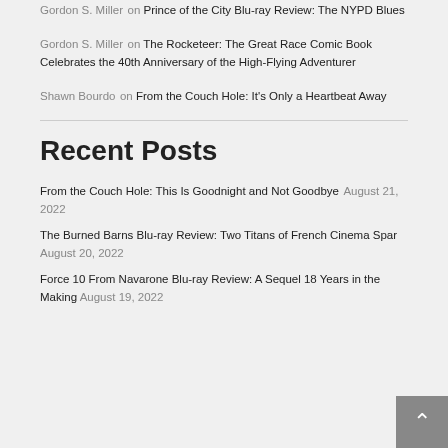Gordon S. Miller on Prince of the City Blu-ray Review: The NYPD Blues
Gordon S. Miller on The Rocketeer: The Great Race Comic Book Celebrates the 40th Anniversary of the High-Flying Adventurer
Shawn Bourdo on From the Couch Hole: It's Only a Heartbeat Away
Recent Posts
From the Couch Hole: This Is Goodnight and Not Goodbye August 21, 2022
The Burned Barns Blu-ray Review: Two Titans of French Cinema Spar August 20, 2022
Force 10 From Navarone Blu-ray Review: A Sequel 18 Years in the Making August 19, 2022